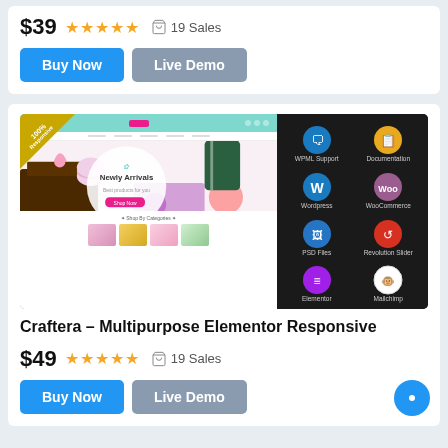$39  ★★★★★  19 Sales
Buy Now | Live Demo
[Figure (screenshot): Product preview screenshot of Craftera theme showing a pastel-colored WooCommerce storefront on the left and feature icons (WPML Support, Documentation, WordPress, WooCommerce, PSD Files, Revolution Slider, Elementor, Mailchimp) on a dark background on the right. A '100% Responsive' diagonal badge is in the top-left corner.]
Craftera – Multipurpose Elementor Responsive
$49  ★★★★★  19 Sales
Buy Now | Live Demo